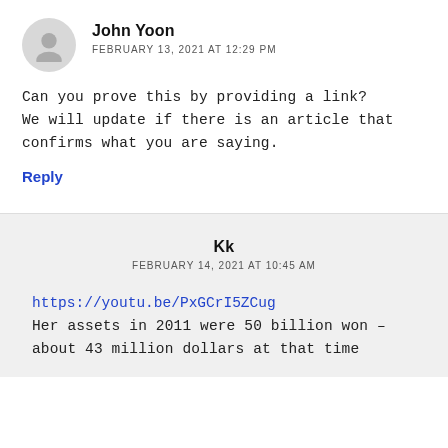John Yoon
FEBRUARY 13, 2021 AT 12:29 PM
Can you prove this by providing a link? We will update if there is an article that confirms what you are saying.
Reply
Kk
FEBRUARY 14, 2021 AT 10:45 AM
https://youtu.be/PxGCrI5ZCug
Her assets in 2011 were 50 billion won – about 43 million dollars at that time